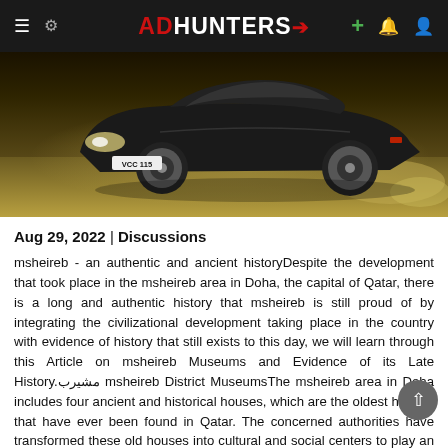ADHUNTERS
[Figure (photo): A dark BMW i8 sports car driving on a track or road, with dust/smoke behind it. License plate reads VCC 115. Sepia/yellow-tinted action shot.]
Aug 29, 2022 | Discussions
msheireb - an authentic and ancient historyDespite the development that took place in the msheireb area in Doha, the capital of Qatar, there is a long and authentic history that msheireb is still proud of by integrating the civilizational development taking place in the country with evidence of history that still exists to this day, we will learn through this Article on msheireb Museums and Evidence of its Late History.مشيرب msheireb District MuseumsThe msheireb area in Doha includes four ancient and historical houses, which are the oldest houses that have ever been found in Qatar. The concerned authorities have transformed these old houses into cultural and social centers to play an important role in the development within the Qatari society.Those competent authorities have restored and rehabilitated the houses to renew their structures in a way that does not erase their